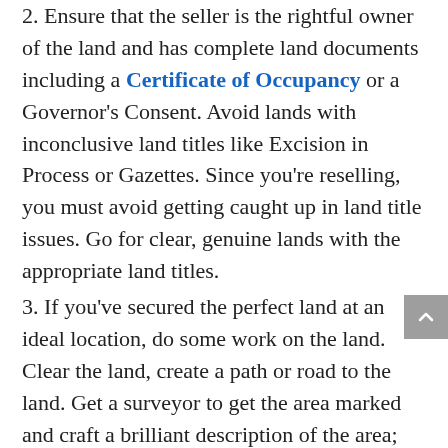2. Ensure that the seller is the rightful owner of the land and has complete land documents including a Certificate of Occupancy or a Governor's Consent. Avoid lands with inconclusive land titles like Excision in Process or Gazettes. Since you're reselling, you must avoid getting caught up in land title issues. Go for clear, genuine lands with the appropriate land titles.
3. If you've secured the perfect land at an ideal location, do some work on the land. Clear the land, create a path or road to the land. Get a surveyor to get the area marked and craft a brilliant description of the area; highlighting advantages to cajole a potential buyer to opt in.
4. If you cannot write professionally, employ the services of experts in the field and then,